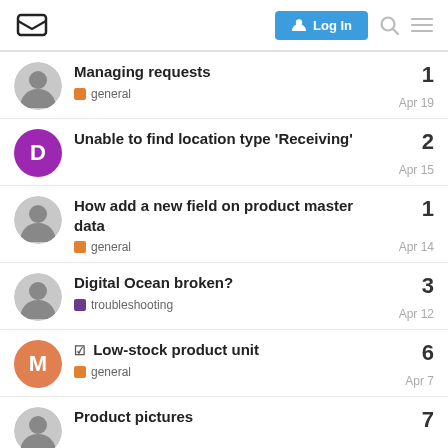Logo | Log In | Search | Menu
Managing requests | general | 1 | Apr 19
Unable to find location type 'Receiving' | 2 | Apr 15
How add a new field on product master data | general | 1 | Apr 14
Digital Ocean broken? | troubleshooting | 3 | Apr 12
Low-stock product unit | general | 6 | Apr 7
Product pictures | 7